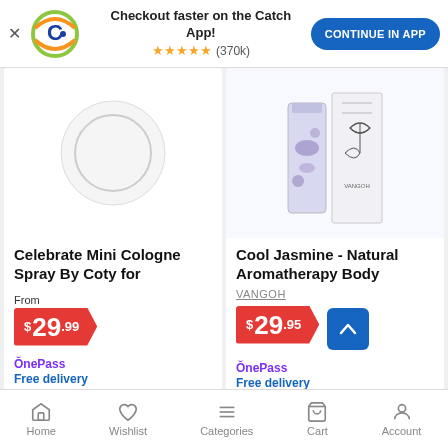Checkout faster on the Catch App! ★★★★★ (370k) CONTINUE IN APP
[Figure (screenshot): Product card: Celebrate Mini Cologne Spray By Coty for - circular product image placeholder, From $29.99, OnePass Free delivery]
[Figure (screenshot): Product card: Cool Jasmine - Natural Aromatherapy Body by VANGOH - perfume bottle image, $29.95, OnePass Free delivery, with scroll-to-top button]
Home  Wishlist  Categories  Cart  Account